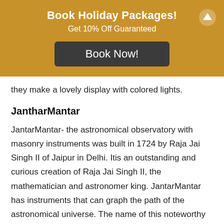[Figure (infographic): Golden banner with 'Book Holiday Packages!' heading, 'Get 10% Off Guaranteed' subtitle, a dark 'Book Now!' button, and an upward arrow icon in the top-right corner.]
they make a lovely display with colored lights.
JantharMantar
JantarMantar- the astronomical observatory with masonry instruments was built in 1724 by Raja Jai Singh II of Jaipur in Delhi. Itis an outstanding and curious creation of Raja Jai Singh II, the mathematician and astronomer king. JantarMantar has instruments that can graph the path of the astronomical universe. The name of this noteworthy astronomical observatory, JantarMantar means